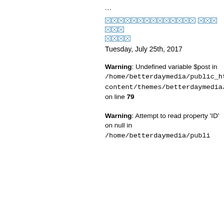....
▨▨▨▨▨▨▨▨▨▨▨▨▨▨ ▨▨▨▨▨▨ ▨▨▨▨
Tuesday, July 25th, 2017
Warning: Undefined variable $post in /home/betterdaymedia/public_html/wp-content/themes/betterdaymedia/functions.php on line 79
Warning: Attempt to read property 'ID' on null in /home/betterdaymedia/publi